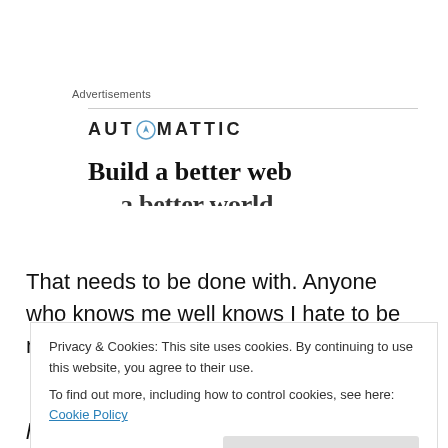Advertisements
[Figure (logo): Automattic logo with compass icon and text 'AUTOMATTIC' in bold uppercase, followed by ad tagline 'Build a better web' and partial second line partially visible]
That needs to be done with. Anyone who knows me well knows I hate to be mocked. It makes my stapler finger
Privacy & Cookies: This site uses cookies. By continuing to use this website, you agree to their use.
To find out more, including how to control cookies, see here: Cookie Policy
Close and accept
hear you all asking.